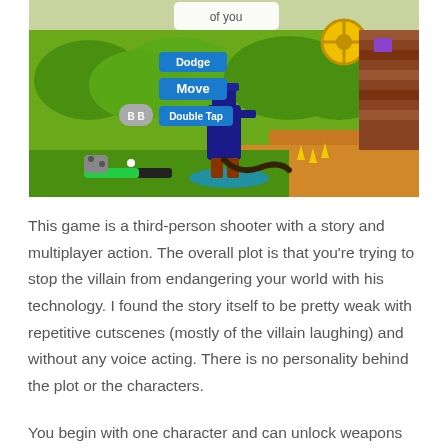[Figure (screenshot): Screenshot of a third-person shooter video game showing a character in a colorful environment with UI elements including Dodge, Move, and Double Tap prompts, health bar, and green foliage background.]
This game is a third-person shooter with a story and multiplayer action. The overall plot is that you're trying to stop the villain from endangering your world with his technology. I found the story itself to be pretty weak with repetitive cutscenes (mostly of the villain laughing) and without any voice acting. There is no personality behind the plot or the characters.
You begin with one character and can unlock weapons